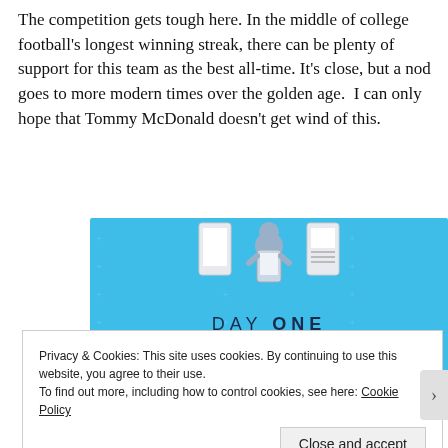The competition gets tough here. In the middle of college football's longest winning streak, there can be plenty of support for this team as the best all-time. It's close, but a nod goes to more modern times over the golden age.  I can only hope that Tommy McDonald doesn't get wind of this.
[Figure (illustration): Advertisement for Day One journaling app on blue background with illustrated figure holding a phone, plus and cross star decorations, text 'DAY ONE', 'The only journaling app you'll ever need.' and a 'Get the app' button.]
Privacy & Cookies: This site uses cookies. By continuing to use this website, you agree to their use.
To find out more, including how to control cookies, see here: Cookie Policy
Close and accept